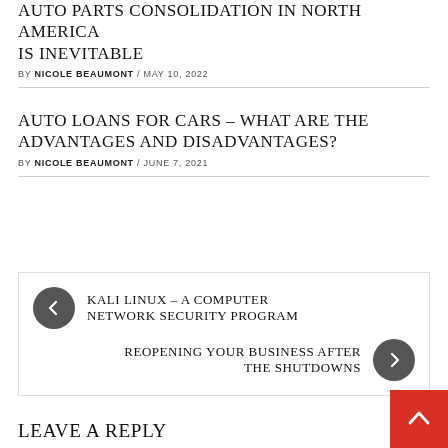AUTO PARTS CONSOLIDATION IN NORTH AMERICA IS INEVITABLE
BY NICOLE BEAUMONT / MAY 10, 2022
AUTO LOANS FOR CARS – WHAT ARE THE ADVANTAGES AND DISADVANTAGES?
BY NICOLE BEAUMONT / JUNE 7, 2021
KALI LINUX – A COMPUTER NETWORK SECURITY PROGRAM
REOPENING YOUR BUSINESS AFTER THE SHUTDOWNS
LEAVE A REPLY